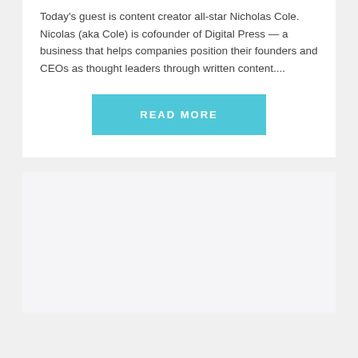Today's guest is content creator all-star Nicholas Cole. Nicolas (aka Cole) is cofounder of Digital Press — a business that helps companies position their founders and CEOs as thought leaders through written content....
[Figure (other): A cyan/teal rectangular button with white uppercase text reading READ MORE]
[Figure (other): A light gray empty card/box below the first card]